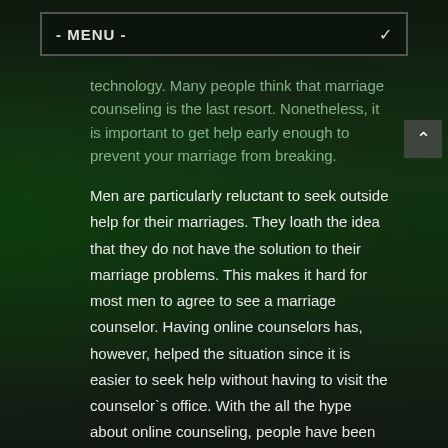- MENU -
technology. Many people think that marriage counseling is the last resort. Nonetheless, it is important to get help early enough to prevent your marriage from breaking.
Men are particularly reluctant to seek outside help for their marriages. They loath the idea that they do not have the solution to their marriage problems. This makes it hard for most men to agree to see a marriage counselor. Having online counselors has, however, helped the situation since it is easier to seek help without having to visit the counselor`s office. With the all the hype about online counseling, people have been questioning its effectiveness. Without a doubt, marriage counselors have given home to many marriages by restoring broken relationships. Online counselors do not work like the conventional counselors, and this has helped eliminate the barriers that limited men's ability to seek the help they need to get their marriage on track.